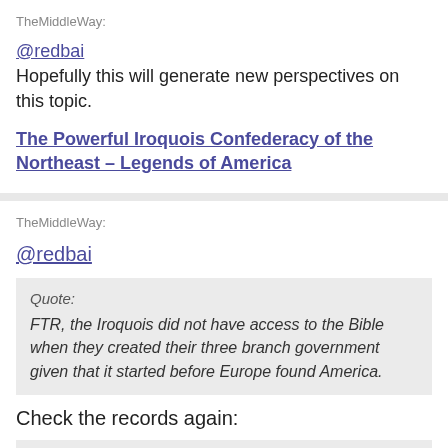TheMiddleWay:
@redbai
Hopefully this will generate new perspectives on this topic.
The Powerful Iroquois Confederacy of the Northeast – Legends of America
TheMiddleWay:
@redbai
Quote:
FTR, the Iroquois did not have access to the Bible when they created their three branch government given that it started before Europe found America.
Check the records again:
Quote:
"The original five member nations ratified this constitution near modern-day Victor, New York, w... the sixth nation (the Tuscarora) being added in